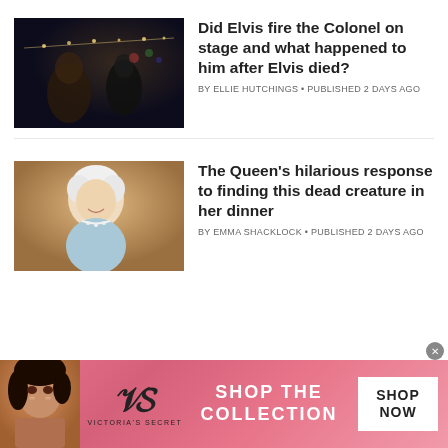[Figure (photo): Dark scene with two people and string lights in background - Elvis movie still]
Did Elvis fire the Colonel on stage and what happened to him after Elvis died?
BY ELLIE HUTCHINGS • PUBLISHED 2 DAYS AGO
[Figure (photo): Portrait of Queen Elizabeth II smiling, wearing pearl necklace, light blue top, against warm background]
The Queen's hilarious response to finding this dead creature in her dinner
BY EMMA SHACKLOCK • PUBLISHED 2 DAYS AGO
[Figure (infographic): Victoria's Secret advertisement banner with model, VS logo, SHOP THE COLLECTION text, and SHOP NOW button on pink background]